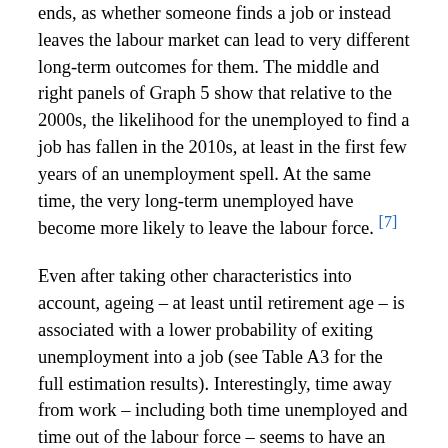ends, as whether someone finds a job or instead leaves the labour market can lead to very different long-term outcomes for them. The middle and right panels of Graph 5 show that relative to the 2000s, the likelihood for the unemployed to find a job has fallen in the 2010s, at least in the first few years of an unemployment spell. At the same time, the very long-term unemployed have become more likely to leave the labour force. [7]
Even after taking other characteristics into account, ageing – at least until retirement age – is associated with a lower probability of exiting unemployment into a job (see Table A3 for the full estimation results). Interestingly, time away from work – including both time unemployed and time out of the labour force – seems to have an effect over and above the duration of unemployment. In particular, being a former worker defined by the Australian Bureau of Statistics (ABS) as